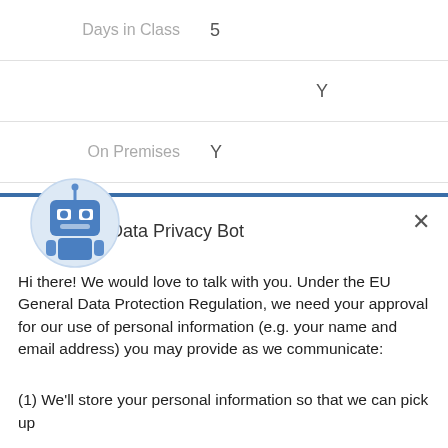| Days in Class | 5 |
|  | Y |
| On Premises | Y |
[Figure (illustration): Robot/bot icon in a light blue circle, representing the Data Privacy Bot chat widget]
Data Privacy Bot
Hi there! We would love to talk with you. Under the EU General Data Protection Regulation, we need your approval for our use of personal information (e.g. your name and email address) you may provide as we communicate:
(1) We'll store your personal information so that we can pick up
Yes, I Accept
No, Not Now
Chat ⚡ by Drift